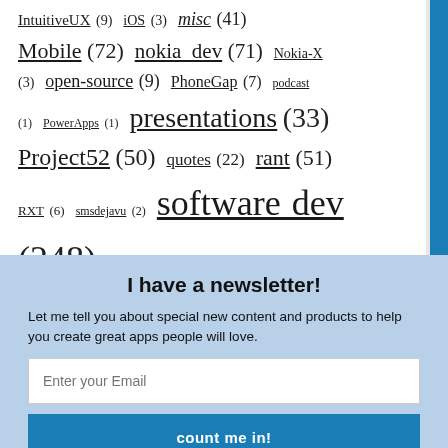IntuitiveUX (9) iOS (3) misc (41) Mobile (72) nokia_dev (71) Nokia-X (3) open-source (9) PhoneGap (7) podcast (1) PowerApps (1) presentations (33) Project52 (50) quotes (22) rant (51) RXT (6) smsdejavu (2) software dev (248) Surface (1) Template Studio (2) testing (9) ThisIsBroken (23) ToiletTwinning (3) tools (9) uno (6)
I have a newsletter!
Let me tell you about special new content and products to help you create great apps people will love.